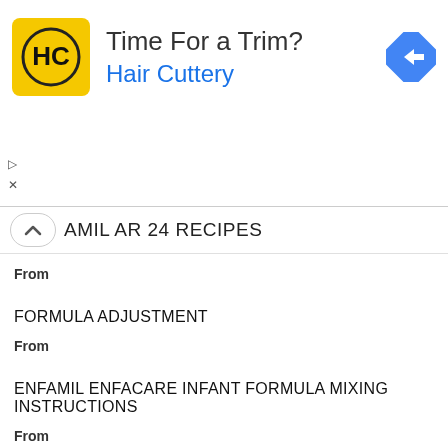[Figure (screenshot): Hair Cuttery advertisement banner with yellow logo showing HC initials, text 'Time For a Trim? Hair Cuttery', blue directional arrow icon, and ad controls (play and close buttons)]
FAMIL AR 24 RECIPES
From
FORMULA ADJUSTMENT
From
ENFAMIL ENFACARE INFANT FORMULA MIXING INSTRUCTIONS
From
PATIENT: HEALTHCARE PROVIDER: ENFAMIL A.R. INFANT